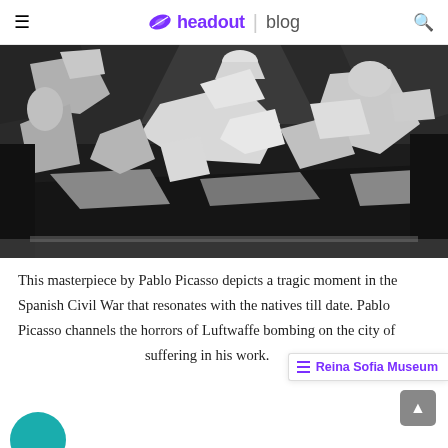headout | blog
[Figure (photo): Black and white photograph of Picasso's Guernica painting displayed on a museum wall, showing chaotic scene of suffering figures, a bull, a horse, and dismembered bodies in cubist style.]
This masterpiece by Pablo Picasso depicts a tragic moment in the Spanish Civil War that resonates with the natives till date. Pablo Picasso channels the horrors of Luftwaffe bombing on the city of suffering in his work.
≡ Reina Sofia Museum